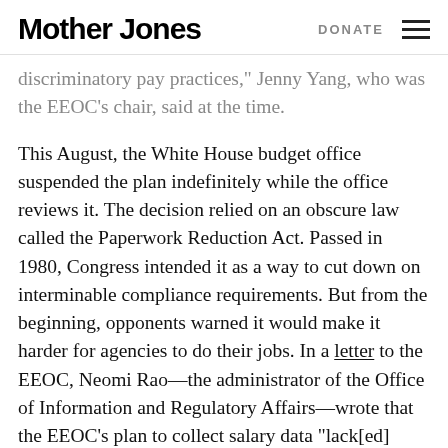Mother Jones  DONATE
discriminatory pay practices,” Jenny Yang, who was the EEOC’s chair, said at the time.
This August, the White House budget office suspended the plan indefinitely while the office reviews it. The decision relied on an obscure law called the Paperwork Reduction Act. Passed in 1980, Congress intended it as a way to cut down on interminable compliance requirements. But from the beginning, opponents warned it would make it harder for agencies to do their jobs. In a letter to the EEOC, Neomi Rao—the administrator of the Office of Information and Regulatory Affairs—wrote that the EEOC’s plan to collect salary data “lack[ed]